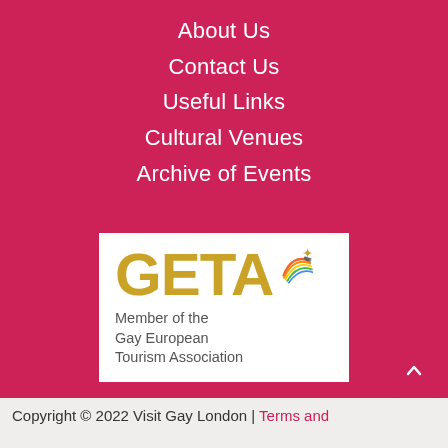About Us
Contact Us
Useful Links
Cultural Venues
Archive of Events
[Figure (logo): GETA logo — Member of the Gay European Tourism Association]
Copyright © 2022 Visit Gay London | Terms and